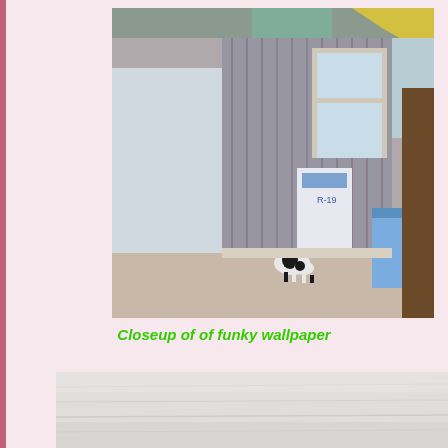[Figure (photo): Interior room photo showing a hallway/room under renovation with striped wallpaper, a floor lamp, windows, insulation material, and a black and white cat on a dusty floor]
Closeup of of funky wallpaper
[Figure (photo): Closeup photo of textured wallpaper surface, appearing light gray/white with subtle pattern]